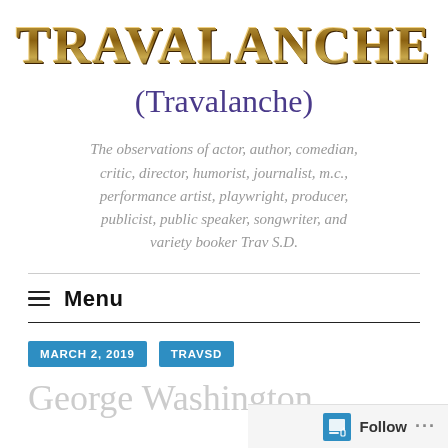TRAVALANCHE
(Travalanche)
The observations of actor, author, comedian, critic, director, humorist, journalist, m.c., performance artist, playwright, producer, publicist, public speaker, songwriter, and variety booker Trav S.D.
≡ Menu
MARCH 2, 2019
TRAVSD
George Washington
Follow